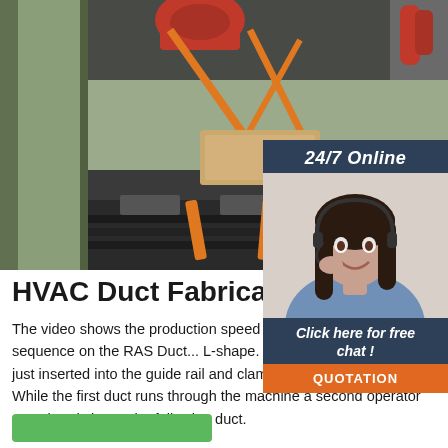[Figure (photo): Industrial HVAC duct fabrication machine inside a shipping container, with orange straps securing metal components and red machinery visible at top.]
[Figure (photo): Customer service representative woman wearing headset, smiling, with '24/7 Online' header and 'Click here for free chat!' call-to-action and orange QUOTATION button.]
HVAC Duct Fabrication Ma...
The video shows the production speed of ducts produced in a sequence on the RAS Duct... L-shape. The sheet edges will be just inserted into the guide rail and clamped with the Autopilot. While the first duct runs through the machine a second operator can already insert the following duct.